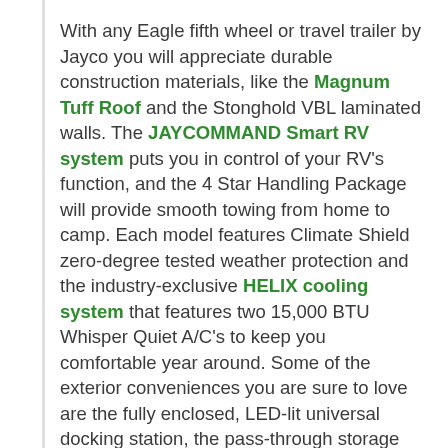With any Eagle fifth wheel or travel trailer by Jayco you will appreciate durable construction materials, like the Magnum Tuff Roof and the Stonghold VBL laminated walls. The JAYCOMMAND Smart RV system puts you in control of your RV's function, and the 4 Star Handling Package will provide smooth towing from home to camp. Each model features Climate Shield zero-degree tested weather protection and the industry-exclusive HELIX cooling system that features two 15,000 BTU Whisper Quiet A/C's to keep you comfortable year around. Some of the exterior conveniences you are sure to love are the fully enclosed, LED-lit universal docking station, the pass-through storage with Slam-Latch baggage doors, and the painted fiberglass front cap with built-in specialty LED lighting. The Eagle fifth wheels and travel trailers are